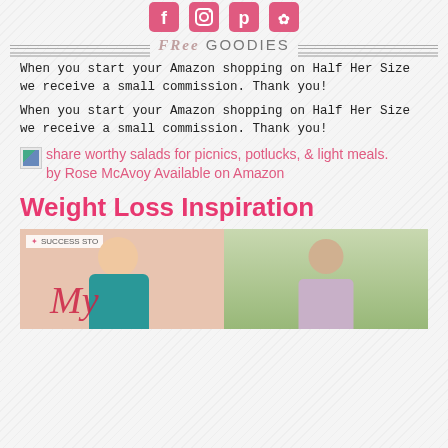[Figure (other): Social media icons (Facebook, Instagram, Pinterest, Twitter/other) shown at top]
FREE GOODIES
When you start your Amazon shopping on Half Her Size we receive a small commission. Thank you!
When you start your Amazon shopping on Half Her Size we receive a small commission. Thank you!
[Figure (other): Broken image placeholder followed by link text: share worthy salads for picnics, potlucks, & light meals. by Rose McAvoy Available on Amazon]
Weight Loss Inspiration
[Figure (photo): Two photos side by side: left shows a smiling woman with Success Story badge and script text overlay, right shows a woman outdoors in a pink top with sunglasses]